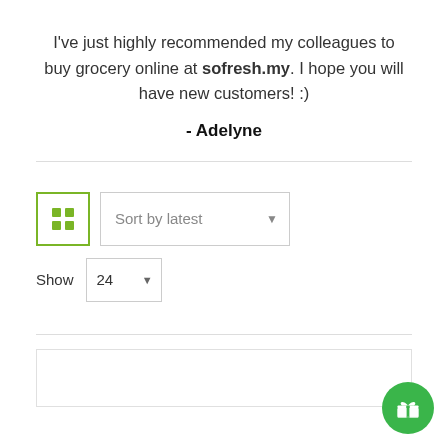I've just highly recommended my colleagues to buy grocery online at sofresh.my. I hope you will have new customers! :)
- Adelyne
[Figure (screenshot): Product filter UI: grid view button (green border with 2x2 grid icon), Sort by latest dropdown, Show 24 dropdown]
[Figure (other): Green circular gift/reward button in bottom-right corner]